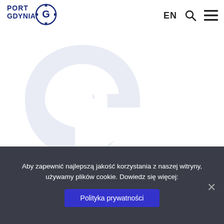[Figure (logo): Port Gdynia logo with stylized G compass icon]
[Figure (logo): Large watermark Port Gdynia G icon in light blue-grey]
Aby zapewnić najlepszą jakość korzystania z naszej witryny, używamy plików cookie. Dowiedz się więcej:
Polityka prywatności